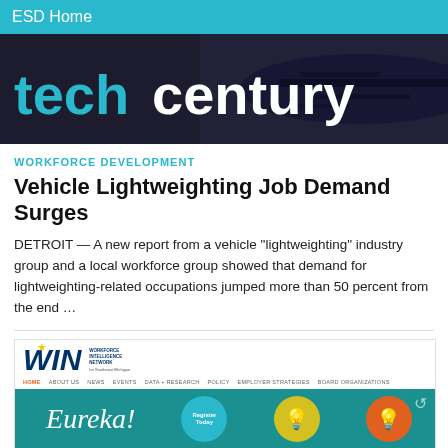ESD Home
[Figure (screenshot): Tech Century website banner with dark background, airplane silhouette, and large techcentury logo with 'tech' in cyan and 'century' in white]
WORKFORCE DEVELOPMENT
Vehicle Lightweighting Job Demand Surges
DETROIT — A new report from a vehicle “lightweighting” industry group and a local workforce group showed that demand for lightweighting-related occupations jumped more than 50 percent from the end …
[Figure (screenshot): WIN (Workforce Intelligence Network) website screenshot showing logo, navigation bar with HOME, ABOUT US, NEWS, EVENTS, DATA + RESEARCH, POLICY, EMPLOYER STRATEGIES, BOARD ORGANIZATIONS, and a banner with 'Eureka!' text, Register Today circle, yellow circle, and orange circle.]